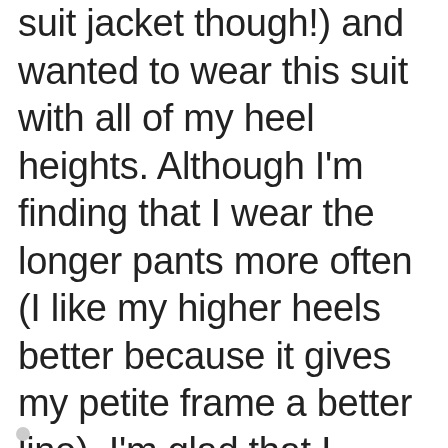suit jacket though!) and wanted to wear this suit with all of my heel heights. Although I'm finding that I wear the longer pants more often (I like my higher heels better because it gives my petite frame a better line), I'm glad that I purchased both pairs of pants to give me the option of wearing my lower heels too. I would only do this with items that I absolutely love though!